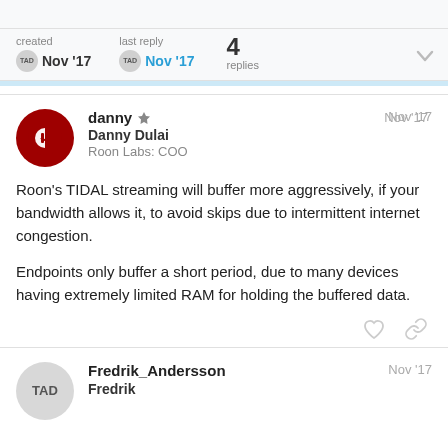created Nov '17   last reply Nov '17   4 replies
danny Danny Dulai Roon Labs: COO Nov '17
Roon's TIDAL streaming will buffer more aggressively, if your bandwidth allows it, to avoid skips due to intermittent internet congestion.

Endpoints only buffer a short period, due to many devices having extremely limited RAM for holding the buffered data.
Fredrik_Andersson Fredrik Nov '17